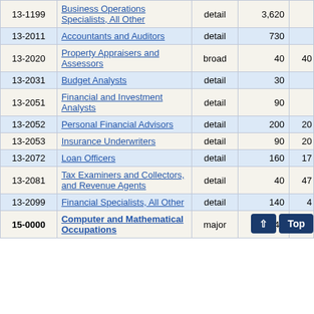| Code | Title | Level | Number | Extra |
| --- | --- | --- | --- | --- |
| 13-1199 | Business Operations Specialists, All Other | detail | 3,620 |  |
| 13-2011 | Accountants and Auditors | detail | 730 |  |
| 13-2020 | Property Appraisers and Assessors | broad | 40 | 40 |
| 13-2031 | Budget Analysts | detail | 30 |  |
| 13-2051 | Financial and Investment Analysts | detail | 90 |  |
| 13-2052 | Personal Financial Advisors | detail | 200 | 20 |
| 13-2053 | Insurance Underwriters | detail | 90 | 20 |
| 13-2072 | Loan Officers | detail | 160 | 17 |
| 13-2081 | Tax Examiners and Collectors, and Revenue Agents | detail | 40 | 47 |
| 13-2099 | Financial Specialists, All Other | detail | 140 | 4 |
| 15-0000 | Computer and Mathematical Occupations | major | 2,46 |  |